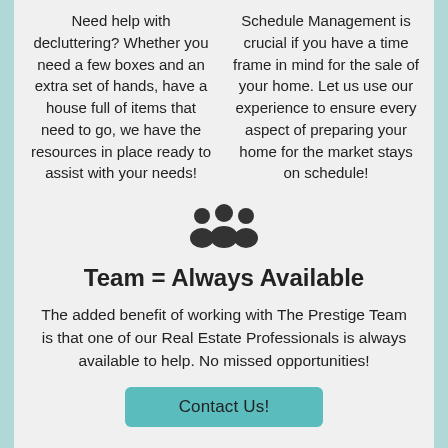Need help with decluttering? Whether you need a few boxes and an extra set of hands, have a house full of items that need to go, we have the resources in place ready to assist with your needs!
Schedule Management is crucial if you have a time frame in mind for the sale of your home. Let us use our experience to ensure every aspect of preparing your home for the market stays on schedule!
[Figure (illustration): Group of people icon (team/users icon) in dark color]
Team = Always Available
The added benefit of working with The Prestige Team is that one of our Real Estate Professionals is always available to help. No missed opportunities!
Contact Us!